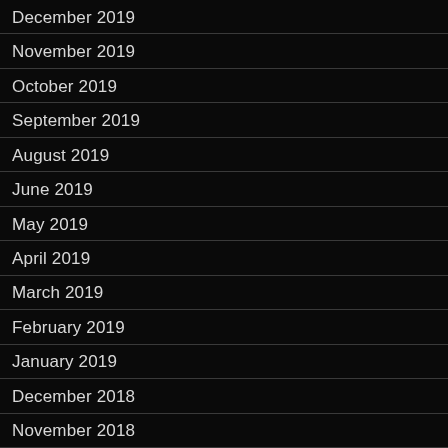December 2019
November 2019
October 2019
September 2019
August 2019
June 2019
May 2019
April 2019
March 2019
February 2019
January 2019
December 2018
November 2018